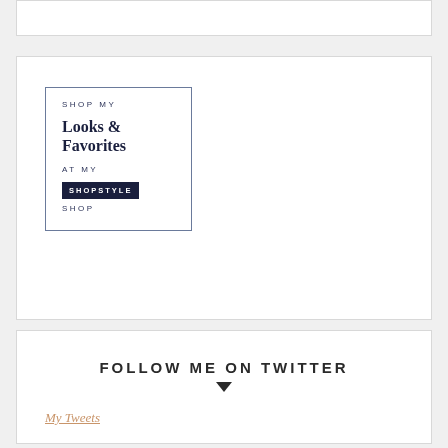[Figure (other): Shop My Looks & Favorites at my SHOPSTYLE SHOP widget in a bordered box]
FOLLOW ME ON TWITTER
My Tweets